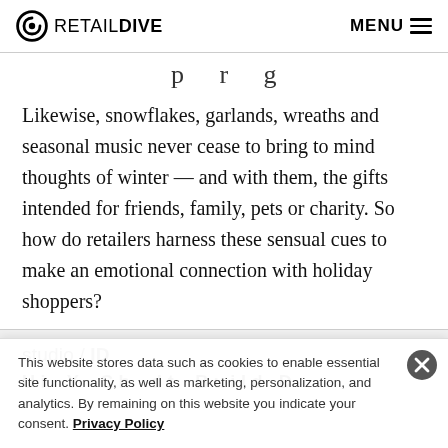RETAIL DIVE  MENU
p     r     g
Likewise, snowflakes, garlands, wreaths and seasonal music never cease to bring to mind thoughts of winter — and with them, the gifts intended for friends, family, pets or charity. So how do retailers harness these sensual cues to make an emotional connection with holiday shoppers?
studio / ID
U i     Y     C h     d t     B u i l d  D
This website stores data such as cookies to enable essential site functionality, as well as marketing, personalization, and analytics. By remaining on this website you indicate your consent. Privacy Policy